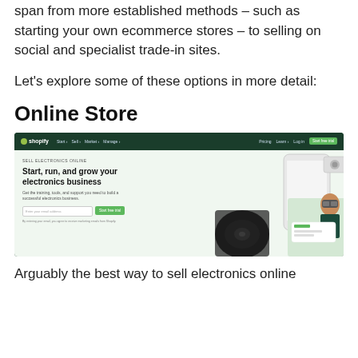span from more established methods – such as starting your own ecommerce stores – to selling on social and specialist trade-in sites.
Let's explore some of these options in more detail:
Online Store
[Figure (screenshot): Screenshot of Shopify's 'Sell Electronics Online' landing page showing the headline 'Start, run, and grow your electronics business' with an email input field and 'Start free trial' button on a light green background, with product images of a speaker and a person using a VR headset on the right.]
Arguably the best way to sell electronics online